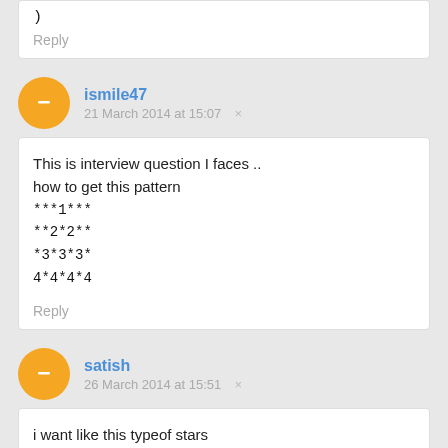)
Reply
ismile47
21 March 2014 at 15:07  ×
This is interview question I faces ..
how to get this pattern
***1***
**2*2**
*3*3*3*
4*4*4*4
Reply
satish
26 March 2014 at 15:51  ×
i want like this typeof stars